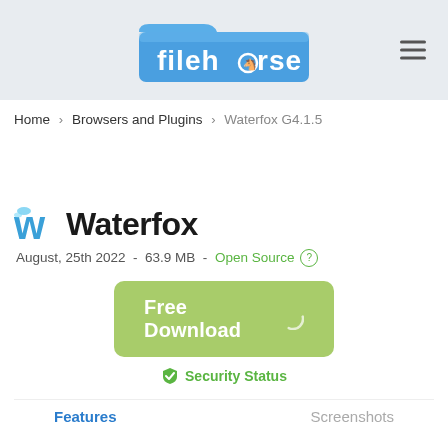[Figure (logo): Filehorse logo: blue folder icon with white text 'filehorse' and a horse silhouette replacing the letter 'o']
Home > Browsers and Plugins > Waterfox G4.1.5
Waterfox
August, 25th 2022  -  63.9 MB  -  Open Source (?)
Free Download
Security Status
Features	Screenshots